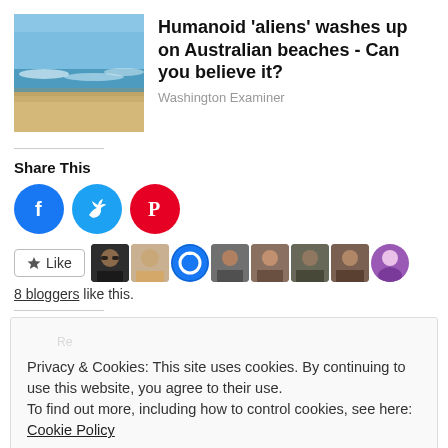[Figure (photo): Beach scene with blue sky, waves, and sandy shore]
Humanoid 'aliens' washes up on Australian beaches - Can you believe it?
Washington Examiner
Share This
[Figure (infographic): Social share buttons: Facebook (blue circle), Twitter (light blue circle), Pinterest (red circle)]
[Figure (infographic): Like button with star icon and 8 blogger avatar thumbnails]
8 bloggers like this.
Privacy & Cookies: This site uses cookies. By continuing to use this website, you agree to their use.
To find out more, including how to control cookies, see here: Cookie Policy